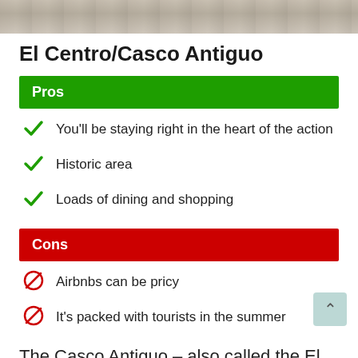[Figure (photo): Photo strip of a historic building/street scene at the top of the page]
El Centro/Casco Antiguo
Pros
You'll be staying right in the heart of the action
Historic area
Loads of dining and shopping
Cons
Airbnbs can be pricy
It's packed with tourists in the summer
The Casco Antiguo – also called the El Centro district – is the epicenter of Seville today, just as it has been for centuries. This is the part of the town where you'll get lost